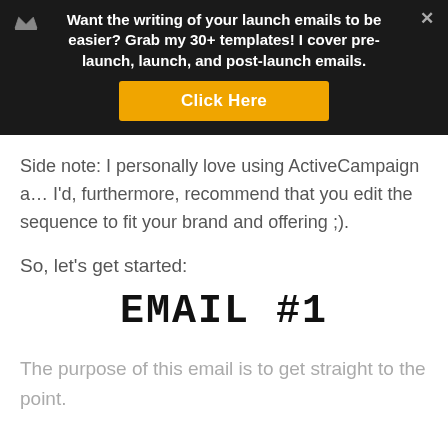[Figure (infographic): Dark banner with crown icon and close button. Text: 'Want the writing of your launch emails to be easier? Grab my 30+ templates! I cover pre-launch, launch, and post-launch emails.' with a gold 'Click Here' button.]
Side note: I personally love using ActiveCampaign a... I’d, furthermore, recommend that you edit the sequence to fit your brand and offering ;).
So, let’s get started:
EMAIL #1
The purpose of this email is to get straight to the point.